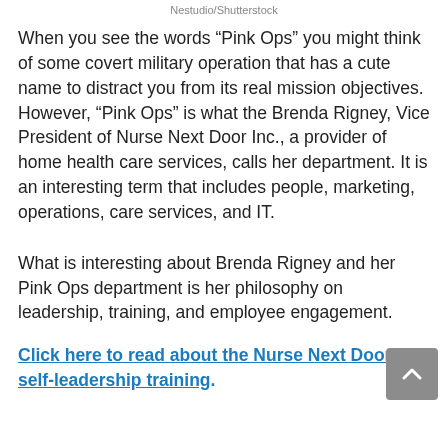Nestudio/Shutterstock
When you see the words “Pink Ops” you might think of some covert military operation that has a cute name to distract you from its real mission objectives. However, “Pink Ops” is what the Brenda Rigney, Vice President of Nurse Next Door Inc., a provider of home health care services, calls her department. It is an interesting term that includes people, marketing, operations, care services, and IT.
What is interesting about Brenda Rigney and her Pink Ops department is her philosophy on leadership, training, and employee engagement.
Click here to read about the Nurse Next Door Inc. self-leadership training.